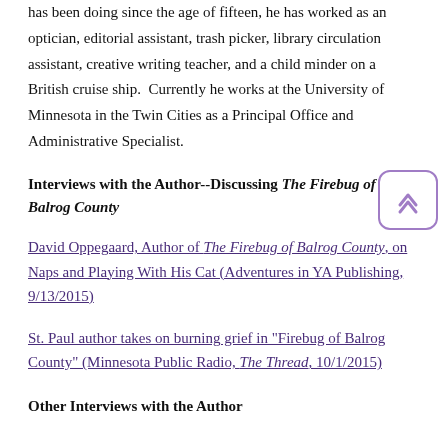has been doing since the age of fifteen, he has worked as an optician, editorial assistant, trash picker, library circulation assistant, creative writing teacher, and a child minder on a British cruise ship.  Currently he works at the University of Minnesota in the Twin Cities as a Principal Office and Administrative Specialist.
Interviews with the Author--Discussing The Firebug of Balrog County
David Oppegaard, Author of The Firebug of Balrog County, on Naps and Playing With His Cat (Adventures in YA Publishing, 9/13/2015)
St. Paul author takes on burning grief in "Firebug of Balrog County" (Minnesota Public Radio, The Thread, 10/1/2015)
Other Interviews with the Author